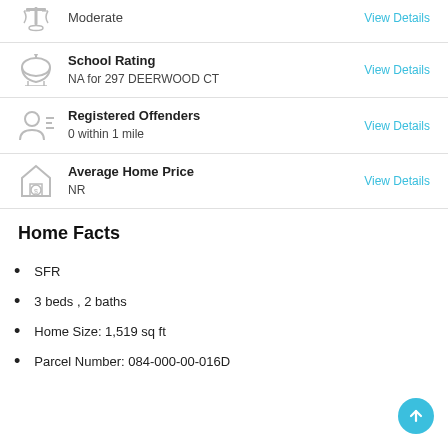Moderate
View Details
School Rating
NA for 297 DEERWOOD CT
View Details
Registered Offenders
0 within 1 mile
View Details
Average Home Price
NR
View Details
Home Facts
SFR
3 beds , 2 baths
Home Size: 1,519 sq ft
Parcel Number: 084-000-00-016D